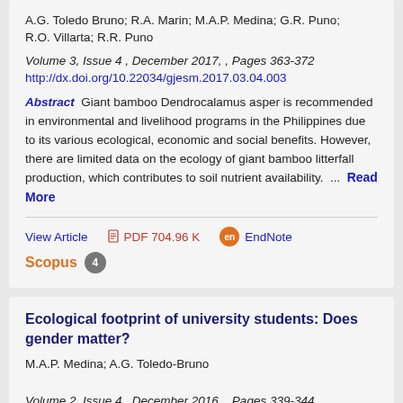A.G. Toledo Bruno; R.A. Marin; M.A.P. Medina; G.R. Puno; R.O. Villarta; R.R. Puno
Volume 3, Issue 4 , December 2017, , Pages 363-372
http://dx.doi.org/10.22034/gjesm.2017.03.04.003
Abstract Giant bamboo Dendrocalamus asper is recommended in environmental and livelihood programs in the Philippines due to its various ecological, economic and social benefits. However, there are limited data on the ecology of giant bamboo litterfall production, which contributes to soil nutrient availability. ... Read More
View Article  PDF 704.96 K  EndNote  Scopus 4
Ecological footprint of university students: Does gender matter?
M.A.P. Medina; A.G. Toledo-Bruno
Volume 2, Issue 4 , December 2016, , Pages 339-344